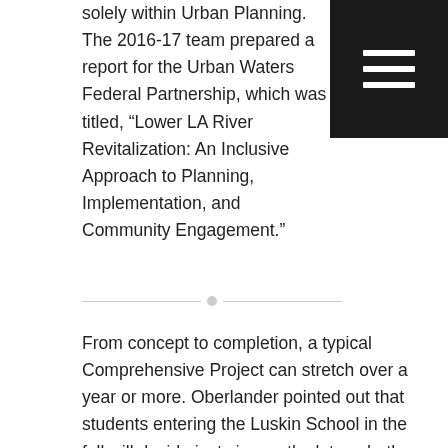solely within Urban Planning. The 2016-17 team prepared a report for the Urban Waters Federal Partnership, which was titled, “Lower LA River Revitalization: An Inclusive Approach to Planning, Implementation, and Community Engagement.”
[Figure (other): Horizontal divider line with a small circle in the center]
From concept to completion, a typical Comprehensive Project can stretch over a year or more. Oberlander pointed out that students entering the Luskin School in the fall will decide just six months later whether to register for the next Comprehensive Project, which won’t wrap up until more than a year later.
Thus, now is the time for potential client partners to step forward. “You can come to Luskin and you can get really great research for a third of the cost to hire somebody,” she noted.